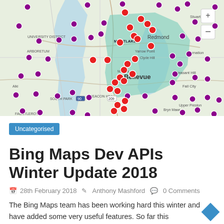[Figure (map): Interactive Bing map showing the Bellevue/Seattle area with numerous purple and red pin markers scattered across the map. Red markers are concentrated in the Bellevue/Mercer Island area (highlighted in teal/green), while purple markers are distributed throughout the broader region including Seattle, Redmond, and surrounding areas. Map includes zoom controls (+/-) in upper right.]
Uncategorised
Bing Maps Dev APIs Winter Update 2018
28th February 2018   Anthony Mashford   0 Comments
The Bing Maps team has been working hard this winter and have added some very useful features. So far this